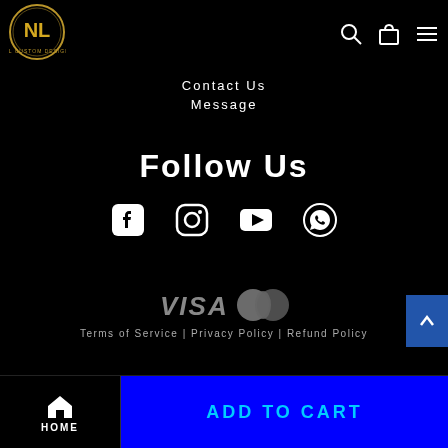[Figure (logo): NL Custom Design circular gold logo on black background]
Contact Us
Message
Follow Us
[Figure (illustration): Social media icons: Facebook, Instagram, YouTube, WhatsApp]
[Figure (illustration): Payment method icons: VISA and MasterCard]
Terms of Service | Privacy Policy | Refund Policy
HOME
ADD TO CART